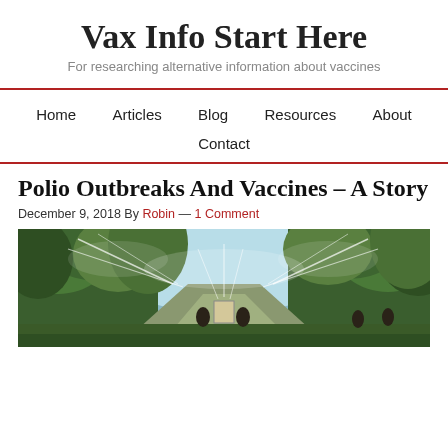Vax Info Start Here
For researching alternative information about vaccines
Home | Articles | Blog | Resources | About | Contact
Polio Outbreaks And Vaccines – A Story
December 9, 2018 By Robin — 1 Comment
[Figure (photo): Historical photograph showing a wooded road scene with water sprayers or misters, people visible in the background, trees on both sides, and a light blue sky above.]